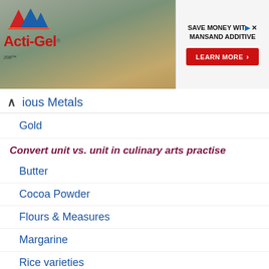[Figure (illustration): Banner advertisement for Acti-Gel product showing logo with mountain icon on left, construction/mining photo background, and 'SAVE MONEY WITH MANSAND ADDITIVE' text with 'LEARN MORE' red button on right]
ious Metals
Gold
Convert unit vs. unit in culinary arts practise
Butter
Cocoa Powder
Flours & Measures
Margarine
Rice varieties
Salt (table salt)
Sugars & Measures
Yeast, Active Dry